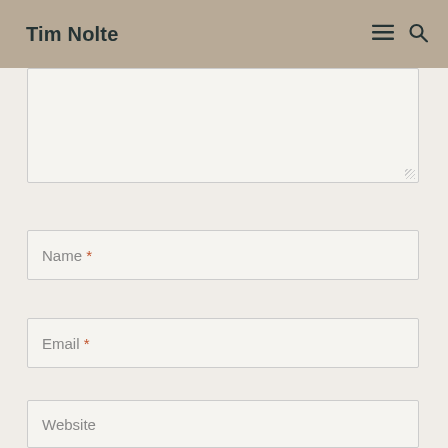Tim Nolte
[Figure (screenshot): Comment form textarea (empty), followed by Name, Email, and Website input fields on a light beige background. The header shows 'Tim Nolte' with hamburger menu and search icons on a tan/khaki background.]
Name *
Email *
Website